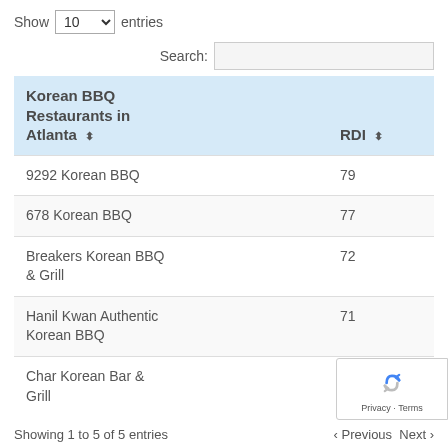Show 10 entries
Search:
| Korean BBQ Restaurants in Atlanta | RDI |
| --- | --- |
| 9292 Korean BBQ | 79 |
| 678 Korean BBQ | 77 |
| Breakers Korean BBQ & Grill | 72 |
| Hanil Kwan Authentic Korean BBQ | 71 |
| Char Korean Bar & Grill | 68 |
Showing 1 to 5 of 5 entries   ‹ Previous  Next ›